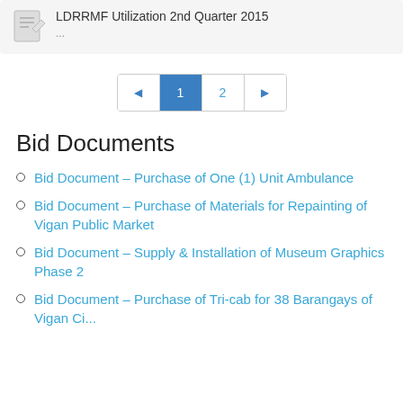LDRRMF Utilization 2nd Quarter 2015
...
Pagination: ◄ 1 2 ►
Bid Documents
Bid Document – Purchase of One (1) Unit Ambulance
Bid Document – Purchase of Materials for Repainting of Vigan Public Market
Bid Document – Supply & Installation of Museum Graphics Phase 2
Bid Document – Purchase of Tri-cab for 38 Barangays of Vigan City